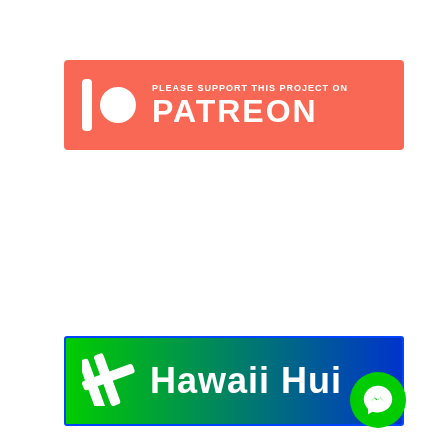[Figure (logo): Patreon banner with red background, Patreon logo (vertical bar and circle), text 'PLEASE SUPPORT THIS PROJECT ON PATREON']
[Figure (logo): Hawaii Hui banner with green-to-blue gradient, hashtag-like icon, white text 'Hawaii Hui']
[Figure (screenshot): Screenshot of a tweet from Hawaii News @hawaiistar dated May 29, showing avatar with red star logo, tweet text about approximately 70 employees from more than a dozen departments including @MayorRic[k] assisted with beautification efforts and the transformation of an old exhibit area into a friendly citrus garden at @HonoluluZoo. Green Facebook Messenger bubble icon overlaid at bottom-right.]